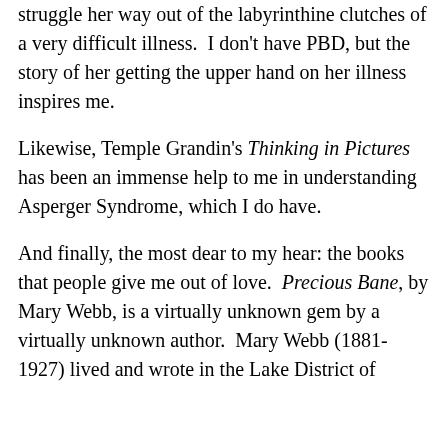struggle her way out of the labyrinthine clutches of a very difficult illness.  I don't have PBD, but the story of her getting the upper hand on her illness inspires me.
Likewise, Temple Grandin's Thinking in Pictures has been an immense help to me in understanding Asperger Syndrome, which I do have.
And finally, the most dear to my hear: the books that people give me out of love.  Precious Bane, by Mary Webb, is a virtually unknown gem by a virtually unknown author.  Mary Webb (1881-1927) lived and wrote in the Lake District of England. Her books focus on the...